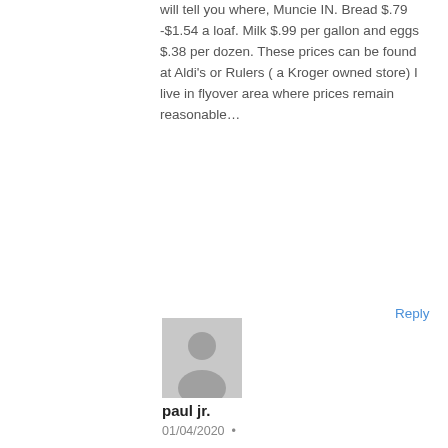will tell you where, Muncie IN. Bread $.79 -$1.54 a loaf. Milk $.99 per gallon and eggs $.38 per dozen. These prices can be found at Aldi's or Rulers ( a Kroger owned store) I live in flyover area where prices remain reasonable…
Reply
[Figure (illustration): Generic user avatar — gray silhouette of a person on a light gray background]
paul jr.
01/04/2020 •
Thanks. That supports what I